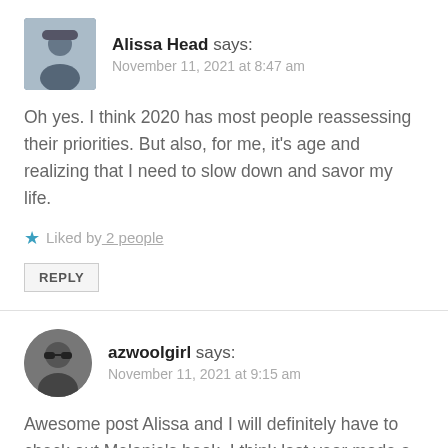Alissa Head says: November 11, 2021 at 8:47 am
Oh yes. I think 2020 has most people reassessing their priorities. But also, for me, it's age and realizing that I need to slow down and savor my life.
Liked by 2 people
REPLY
azwoolgirl says: November 11, 2021 at 9:15 am
Awesome post Alissa and I will definitely have to check out Melanie's book. I think last year made a huge impact on me and I realized what was really important to me, and what I truly found joyful. I have let go of many things,